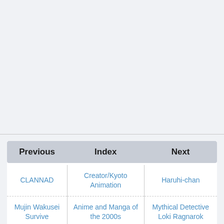| Previous | Index | Next |
| --- | --- | --- |
| CLANNAD | Creator/Kyoto Animation | Haruhi-chan |
| Mujin Wakusei Survive | Anime and Manga of the 2000s | Mythical Detective Loki Ragnarok |